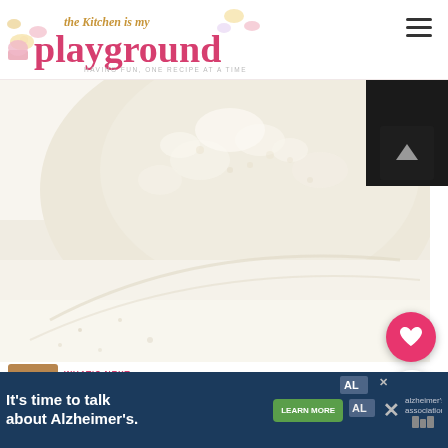[Figure (logo): The Kitchen is my Playground blog logo with pink cursive text and decorative elements]
[Figure (photo): Close-up photo of fluffy white sugar or cream texture against a white background]
... and serve those extra-special shaped scrumptious mug of hot chocolate. So cute,
[Figure (photo): WHAT'S NEXT thumbnail showing Homemade Chocolate...]
[Figure (infographic): Advertisement banner: It's time to talk about Alzheimer's. LEARN MORE. Alzheimer's Association logo.]